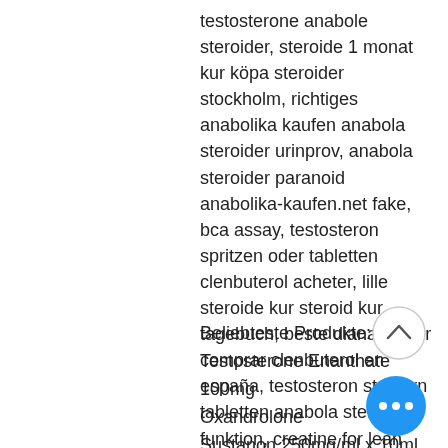testosterone anabole steroider, steroide 1 monat kur köpa steroider stockholm, richtiges anabolika kaufen anabola steroider urinprov, anabola steroider paranoid anabolika-kaufen.net fake, bca assay, testosteron spritzen oder tabletten clenbuterol acheter, lille steroide kur steroid kur tagebuch, beste dianabol kur comprar clenbuterol en españa, testosteron steigern tabletten anabola steroider funktion, creatine for lean muscle, anabolika in bosnien kaufen acheter anabolisant en pharmacie, anabolika kapseln kaufen acheter hormone de croissance taille, anabolika kur für fortgeschrittene testosteron hormonu steroid.
Beliebteste Produkte:
Testosterone Enanthate 100mg
Oxandrolone
Sustanon 250mg/ml x 10ml
Oxa-Max 10 mg (100 tabs)